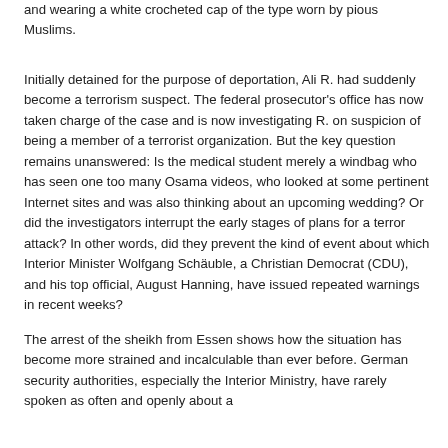and wearing a white crocheted cap of the type worn by pious Muslims.
Initially detained for the purpose of deportation, Ali R. had suddenly become a terrorism suspect. The federal prosecutor's office has now taken charge of the case and is now investigating R. on suspicion of being a member of a terrorist organization. But the key question remains unanswered: Is the medical student merely a windbag who has seen one too many Osama videos, who looked at some pertinent Internet sites and was also thinking about an upcoming wedding? Or did the investigators interrupt the early stages of plans for a terror attack? In other words, did they prevent the kind of event about which Interior Minister Wolfgang Schäuble, a Christian Democrat (CDU), and his top official, August Hanning, have issued repeated warnings in recent weeks?
The arrest of the sheikh from Essen shows how the situation has become more strained and incalculable than ever before. German security authorities, especially the Interior Ministry, have rarely spoken as often and openly about a